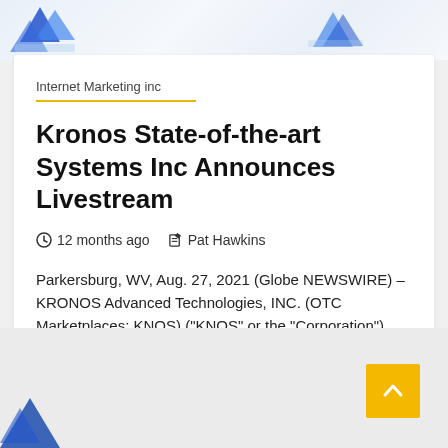[Figure (illustration): Top banner area with decorative blue logo/graphic elements on left and right side against light blue-white gradient background]
Internet Marketing inc
Kronos State-of-the-art Systems Inc Announces Livestream
12 months ago   Pat Hawkins
Parkersburg, WV, Aug. 27, 2021 (Globe NEWSWIRE) – KRONOS Advanced Technologies, INC. (OTC Marketplaces: KNOS) ("KNOS" or the "Corporation"), an...
[Figure (illustration): Bottom area with gray background, blue graphic element bottom-left, and yellow back-to-top arrow button bottom-right]